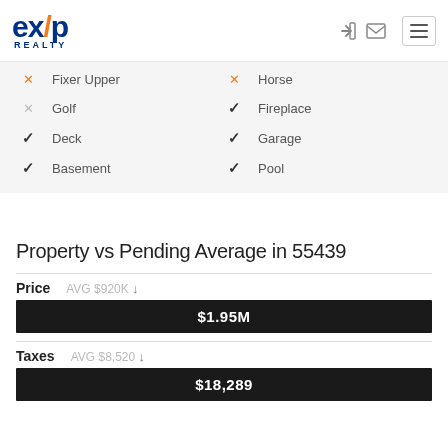[Figure (logo): eXp Realty logo with orange X slash and blue text]
✗ Fixer Upper
✗ Horse
✗ Golf
✓ Fireplace
✓ Deck
✓ Garage
✓ Basement
✓ Pool
Property vs Pending Average in 55439
Price  AVG $920K  $1.95M
Taxes  AVG $8,520  $18,289